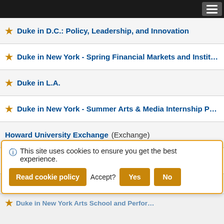Navigation menu
★ Duke in D.C.: Policy, Leadership, and Innovation
★ Duke in New York - Spring Financial Markets and Institutions
★ Duke in L.A.
★ Duke in New York - Summer Arts & Media Internship Program
Howard University Exchange (Exchange)
Spelman College Exchange (Exchange)
★ The Ronald & Carrie Ludwig Duke in Silicon Valley Program
DukeEngage Boston
DukeEngage Chicago
This site uses cookies to ensure you get the best experience. Read cookie policy  Accept?  Yes  No